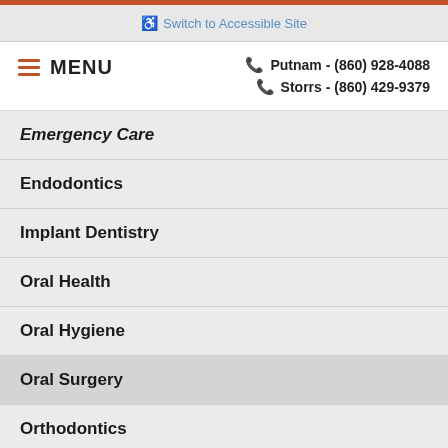Switch to Accessible Site
MENU | Putnam - (860) 928-4088 | Storrs - (860) 429-9379
Emergency Care
Endodontics
Implant Dentistry
Oral Health
Oral Hygiene
Oral Surgery
Orthodontics
Pediatric Dentistry
Periodontal Therapy